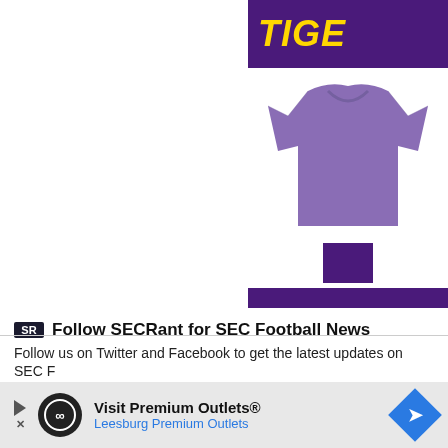[Figure (screenshot): LSU Tigers merchandise advertisement banner (partially visible on right side). Shows purple header with 'TIGE...' text in gold italic font, a purple t-shirt product image, a purple button, and a purple bottom bar.]
Follow SECRant for SEC Football News
Follow us on Twitter and Facebook to get the latest updates on SEC F...
[Figure (screenshot): Advertisement banner for Visit Premium Outlets® - Leesburg Premium Outlets with play/close buttons, circular infinity logo, text, and blue diamond arrow icon.]